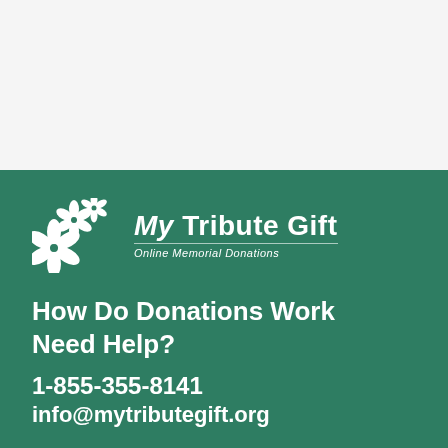[Figure (logo): My Tribute Gift logo with cherry blossom flowers and text 'My Tribute Gift — Online Memorial Donations' on green background]
How Do Donations Work
Need Help?
1-855-355-8141
info@mytributegift.org